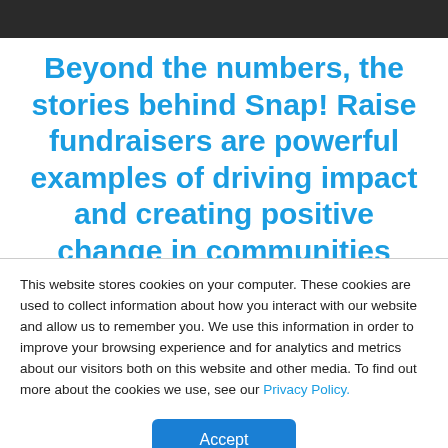Beyond the numbers, the stories behind Snap! Raise fundraisers are powerful examples of driving impact and creating positive change in communities
This website stores cookies on your computer. These cookies are used to collect information about how you interact with our website and allow us to remember you. We use this information in order to improve your browsing experience and for analytics and metrics about our visitors both on this website and other media. To find out more about the cookies we use, see our Privacy Policy.